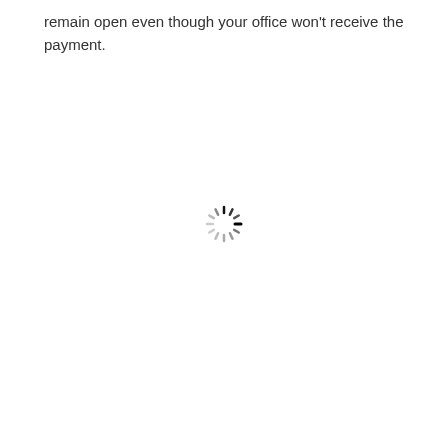remain open even though your office won't receive the payment.
[Figure (other): Loading spinner icon — a circular arrangement of short radial dashes in varying shades of gray and black, indicating a loading state.]